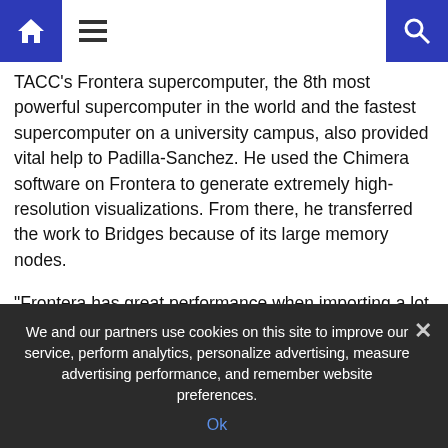Home | Menu | Search
TACC's Frontera supercomputer, the 8th most powerful supercomputer in the world and the fastest supercomputer on a university campus, also provided vital help to Padilla-Sanchez. He used the Chimera software on Frontera to generate extremely high-resolution visualizations. From there, he transferred the work to Bridges because of its large memory nodes.

"Frontera has great performance when importing a lot of big data. We're usually able to look at just protein interactions, but with Frontera and Bridges, we were able to study full infection processes in the computer," he said.Padilla-Sanchez's findings will be tested in a wet lab. Upon successful completion of that stage, his work can proceed to
We and our partners use cookies on this site to improve our service, perform analytics, personalize advertising, measure advertising performance, and remember website preferences.
Ok